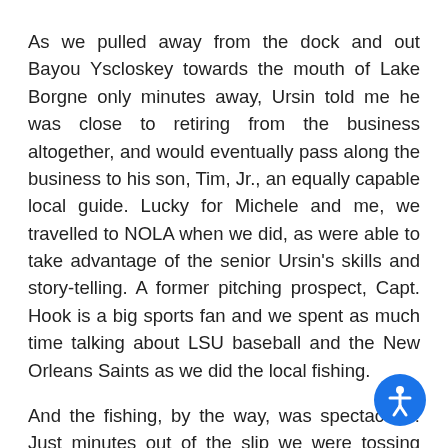As we pulled away from the dock and out Bayou Yscloskey towards the mouth of Lake Borgne only minutes away, Ursin told me he was close to retiring from the business altogether, and would eventually pass along the business to his son, Tim, Jr., an equally capable local guide. Lucky for Michele and me, we travelled to NOLA when we did, as were able to take advantage of the senior Ursin's skills and story-telling. A former pitching prospect, Capt. Hook is a big sports fan and we spent as much time talking about LSU baseball and the New Orleans Saints as we did the local fishing.
And the fishing, by the way, was spectacular! Just minutes out of the slip we were tossing plastics around the pilings for speckled trout on light tackle. In the fall and winter, specks can be...